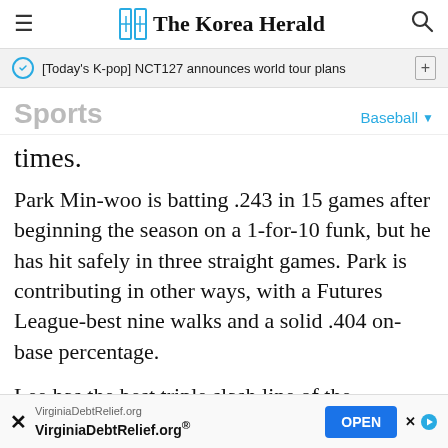The Korea Herald
[Today's K-pop] NCT127 announces world tour plans
Sports — Baseball
times.
Park Min-woo is batting .243 in 15 games after beginning the season on a 1-for-10 funk, but he has hit safely in three straight games. Park is contributing in other ways, with a Futures League-best nine walks and a solid .404 on-base percentage.
Lee has the best triple slash line of the trio, batting .355/.474/.452 in 13 games. He was
VirginiaDebtRelief.org VirginiaDebtRelief.org®